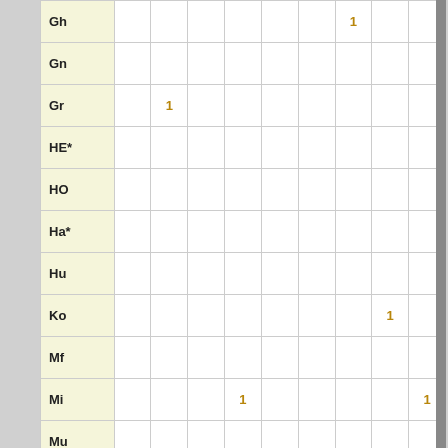|  | col1 | col2 | col3 | col4 | col5 | col6 | col7 | col8 | col9 |
| --- | --- | --- | --- | --- | --- | --- | --- | --- | --- |
| Gh |  |  |  |  |  |  | 1 |  |  |
| Gn |  |  |  |  |  |  |  |  |  |
| Gr |  | 1 |  |  |  |  |  |  |  |
| HE* |  |  |  |  |  |  |  |  |  |
| HO |  |  |  |  |  |  |  |  |  |
| Ha* |  |  |  |  |  |  |  |  |  |
| Hu |  |  |  |  |  |  |  |  |  |
| Ko |  |  |  |  |  |  |  | 1 |  |
| Mf |  |  |  |  |  |  |  |  |  |
| Mi |  |  |  | 1 |  |  |  |  | 1 |
| Mu |  |  |  |  |  |  |  |  |  |
| My |  |  |  |  |  |  |  |  |  |
| Na |  |  |  |  |  |  |  |  |  |
| OP |  |  |  |  |  |  |  |  |  |
| Og |  |  |  | 1 |  |  |  |  |  |
| Pa |  |  |  |  |  |  |  |  | 1 |
| ? |  |  |  |  |  |  |  |  |  |